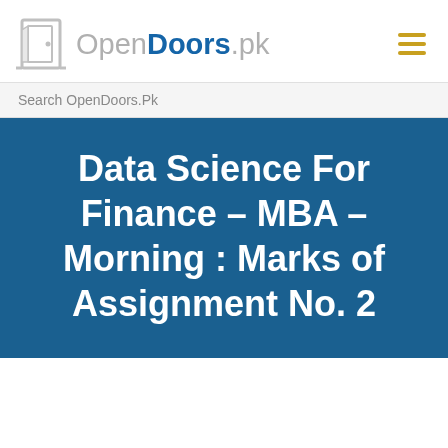[Figure (logo): OpenDoors.pk logo with door icon and hamburger menu icon]
Search OpenDoors.Pk
Data Science For Finance – MBA – Morning : Marks of Assignment No. 2